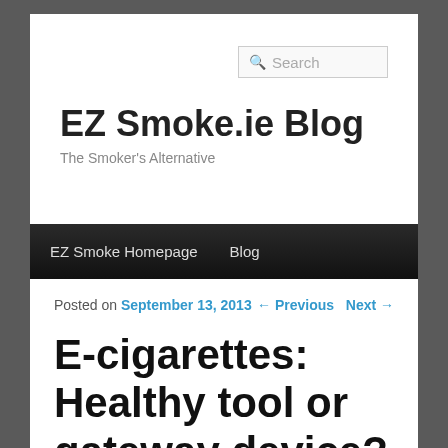EZ Smoke.ie Blog — The Smoker's Alternative
EZ Smoke Homepage   Blog
Posted on September 13, 2013     ← Previous  Next →
E-cigarettes: Healthy tool or gateway device?
A according to...